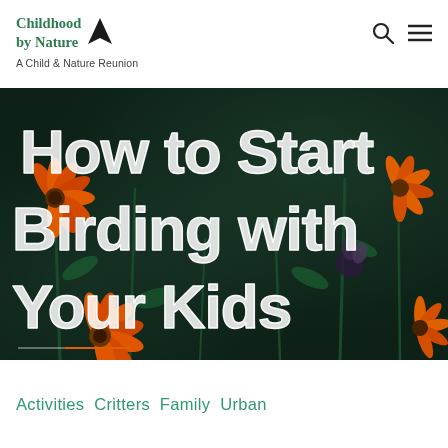Childhood by Nature — A Child & Nature Reunion
[Figure (photo): Hero image with orange wildflowers on a dark teal/green bokeh background with large white sketchy-font text overlay reading 'How to Start Birding with Your Kids']
How to Start Birding with Your Kids
Activities  Critters  Family  Urban